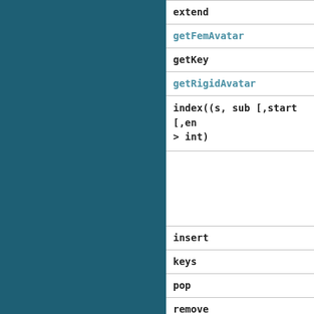| extend |
| getFemAvatar |
| getKey |
| getRigidAvatar |
| index((s, sub [,start [,end]]) -> int) |
|  |
| insert |
| keys |
| pop |
| remove |
| reverse |
| rotate |
| sort |
| sortedKeys |